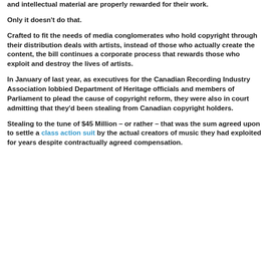and intellectual material are properly rewarded for their work.
Only it doesn't do that.
Crafted to fit the needs of media conglomerates who hold copyright through their distribution deals with artists, instead of those who actually create the content, the bill continues a corporate process that rewards those who exploit and destroy the lives of artists.
In January of last year, as executives for the Canadian Recording Industry Association lobbied Department of Heritage officials and members of Parliament to plead the cause of copyright reform, they were also in court admitting that they'd been stealing from Canadian copyright holders.
Stealing to the tune of $45 Million – or rather – that was the sum agreed upon to settle a class action suit by the actual creators of music they had exploited for years despite contractually agreed compensation.